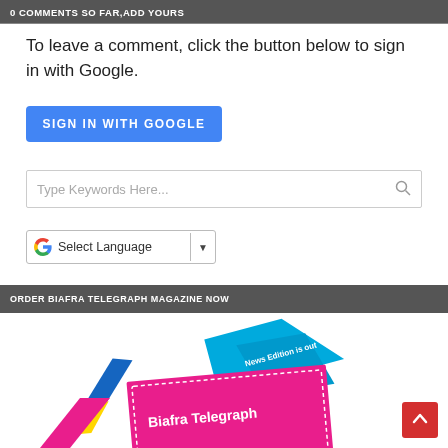0 COMMENTS SO FAR,ADD YOURS
To leave a comment, click the button below to sign in with Google.
SIGN IN WITH GOOGLE
Type Keywords Here...
G Select Language ▼
ORDER BIAFRA TELEGRAPH MAGAZINE NOW
[Figure (illustration): Biafra Telegraph magazine cover showing colorful geometric shapes in blue and pink/magenta with text 'News Edition is out' and 'Biafra Telegraph']